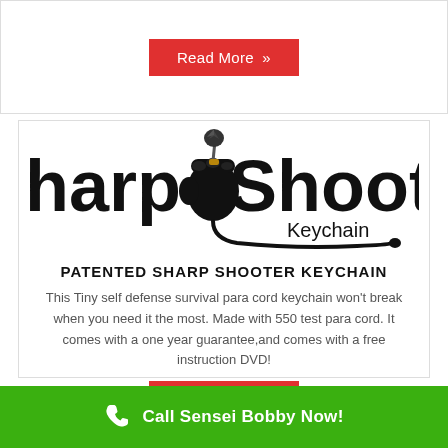[Figure (other): Red 'Read More »' button at top of page]
[Figure (logo): Sharp Shooter Keychain logo with fist graphic and cord illustration]
PATENTED SHARP SHOOTER KEYCHAIN
This Tiny self defense survival para cord keychain won't break when you need it the most. Made with 550 test para cord. It comes with a one year guarantee,and comes with a free instruction DVD!
[Figure (other): Red 'Read More »' button below product description]
Call Sensei Bobby Now!